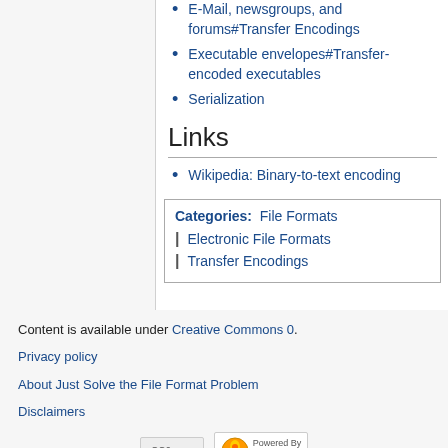E-Mail, newsgroups, and forums#Transfer Encodings
Executable envelopes#Transfer-encoded executables
Serialization
Links
Wikipedia: Binary-to-text encoding
Categories:  File Formats  | Electronic File Formats  | Transfer Encodings
Content is available under Creative Commons 0.
Privacy policy
About Just Solve the File Format Problem
Disclaimers